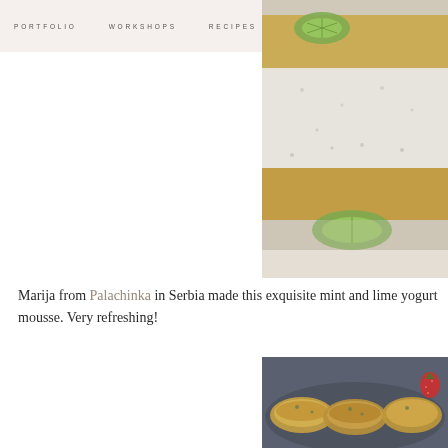PORTFOLIO   WORKSHOPS   RECIPES   SEARCH
[Figure (photo): Close-up photo of a layered cake slice with white mousse filling and lime garnish, viewed from the side on a light background.]
Marija from Palachinka in Serbia made this exquisite mint and lime yogurt mousse. Very refreshing!
[Figure (photo): Photo of golden-brown baked pastries or cookies on a dark plate with a strawberry garnish.]